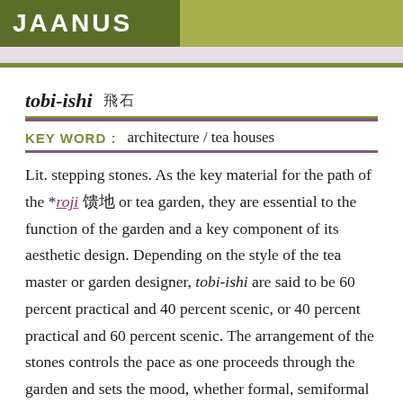JAANUS
tobi-ishi 飛石
KEY WORD :  architecture / tea houses
Lit. stepping stones. As the key material for the path of the *roji 露地 or tea garden, they are essential to the function of the garden and a key component of its aesthetic design. Depending on the style of the tea master or garden designer, tobi-ishi are said to be 60 percent practical and 40 percent scenic, or 40 percent practical and 60 percent scenic. The arrangement of the stones controls the pace as one proceeds through the garden and sets the mood, whether formal, semiformal or